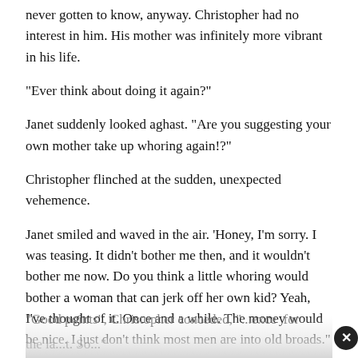never gotten to know, anyway. Christopher had no interest in him. His mother was infinitely more vibrant in his life.
“Ever think about doing it again?”
Janet suddenly looked aghast. “Are you suggesting your own mother take up whoring again!?”
Christopher flinched at the sudden, unexpected vehemence.
Janet smiled and waved in the air. ‘Honey, I’m sorry. I was teasing. It didn’t bother me then, and it wouldn’t bother me now. Do you think a little whoring would bother a woman that can jerk off her own kid? Yeah, I’ve thought of it. Once and a while. The money would be nice. I just don’t think most men are into old broads.”
“Good points”, Christopher conceded, “…exce… for the la…t. So…”